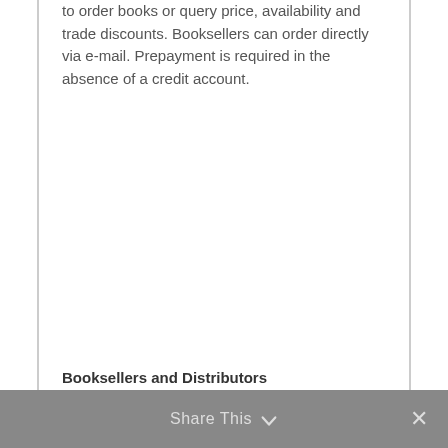to order books or query price, availability and trade discounts. Booksellers can order directly via e-mail. Prepayment is required in the absence of a credit account.
Share This ∨  ✕
Booksellers and Distributors